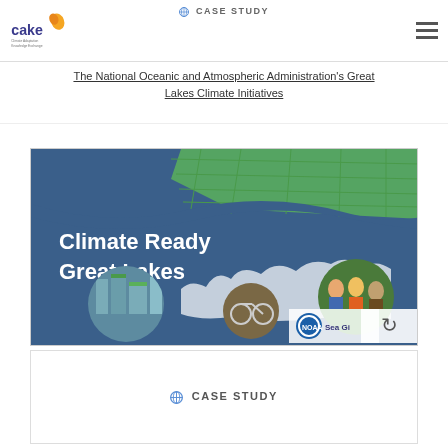CASE STUDY
The National Oceanic and Atmospheric Administration's Great Lakes Climate Initiatives
[Figure (illustration): Climate Ready Great Lakes report cover showing a blue map background of the Great Lakes region with green map overlay at top, white text reading 'Climate Ready Great Lakes', three circular photo insets (city with green rooftops, person on bicycle, people planting), and NOAA/Sea Grant logos at bottom right.]
CASE STUDY